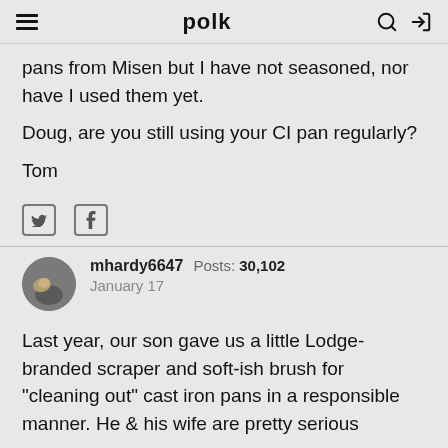polk
pans from Misen but I have not seasoned, nor have I used them yet.

Doug, are you still using your CI pan regularly?

Tom
[Figure (other): Twitter and Facebook share icons]
mhardy6647  Posts: 30,102  January 17
Last year, our son gave us a little Lodge-branded scraper and soft-ish brush for "cleaning out" cast iron pans in a responsible manner. He & his wife are pretty serious